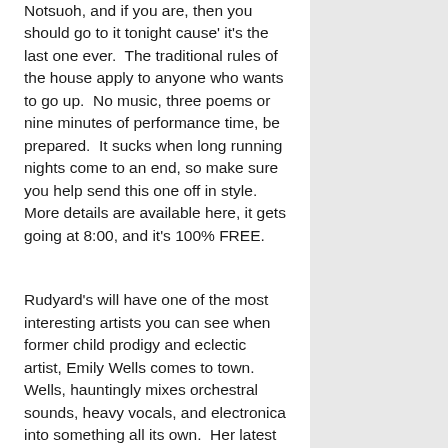Notsuoh, and if you are, then you should go to it tonight cause' it's the last one ever.  The traditional rules of the house apply to anyone who wants to go up.  No music, three poems or nine minutes of performance time, be prepared.  It sucks when long running nights come to an end, so make sure you help send this one off in style.  More details are available here, it gets going at 8:00, and it's 100% FREE.
Rudyard's will have one of the most interesting artists you can see when former child prodigy and eclectic artist, Emily Wells comes to town.  Wells, hauntingly mixes orchestral sounds, heavy vocals, and electronica into something all its own.  Her latest album, “Promise” from this year is like falling asleep on a railroad track to wake up with a train bearing down on you.